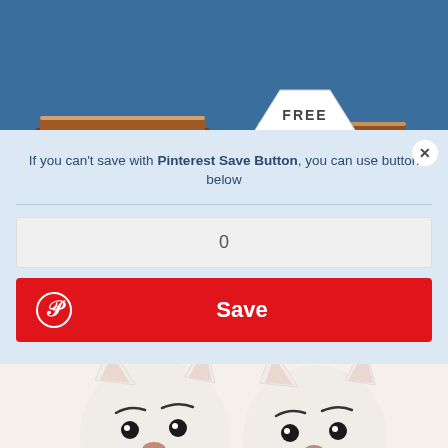[Figure (photo): Person holding a tag that says FREE PATTERN, with blue painted boats in the background]
If you can't save with Pinterest Save Button, you can use button below
0
Save
[Figure (photo): Two white crocheted cat amigurumi dolls with embroidered facial features, one wearing a blue bow and one wearing a pink bow]